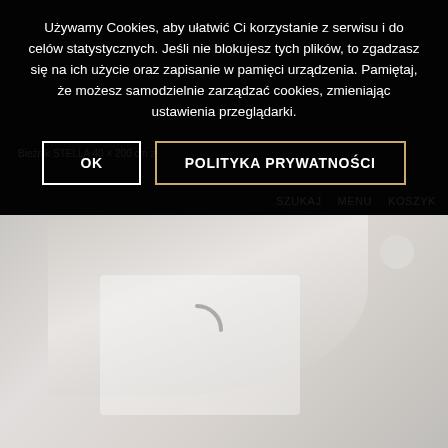[Figure (screenshot): Cookie consent overlay on a Polish e-commerce website. The dark semi-transparent banner covers the top portion of the page showing navigation items (Szukaj, Menu, Koszyk) and a product label 'Bieżnik STELLA 40 x 200 cm zł...' in the background. The lower half shows a blurred product image with a loading spinner and a circular icon.]
Używamy Cookies, aby ułatwić Ci korzystanie z serwisu i do celów statystycznych. Jeśli nie blokujesz tych plików, to zgadzasz się na ich użycie oraz zapisanie w pamięci urządzenia. Pamiętaj, że możesz samodzielnie zarządzać cookies, zmieniając ustawienia przeglądarki.
OK
POLITYKA PRYWATNOŚCI